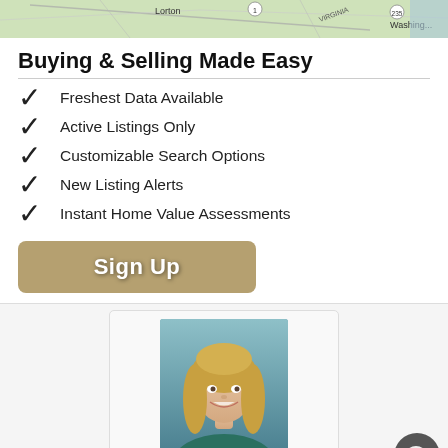[Figure (map): Partial map view showing Lorton and Washington area roads]
Buying & Selling Made Easy
Freshest Data Available
Active Listings Only
Customizable Search Options
New Listing Alerts
Instant Home Value Assessments
[Figure (other): Sign Up button, tan/khaki colored rounded rectangle with white bold text]
[Figure (photo): Professional headshot of a blonde woman smiling, wearing teal top, in a card layout]
Lender Jodi R. White